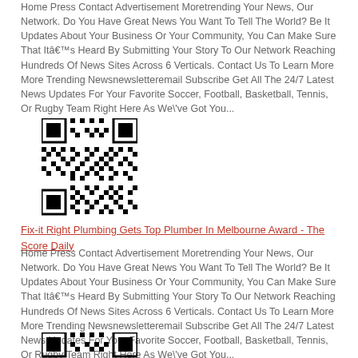Home Press Contact Advertisement Moretrending Your News, Our Network. Do You Have Great News You Want To Tell The World? Be It Updates About Your Business Or Your Community, You Can Make Sure That Itâ€™s Heard By Submitting Your Story To Our Network Reaching Hundreds Of News Sites Across 6 Verticals. Contact Us To Learn More More Trending Newsnewsletteremail Subscribe Get All The 24/7 Latest News Updates For Your Favorite Soccer, Football, Basketball, Tennis, Or Rugby Team Right Here As We\'ve Got You...
[Figure (other): QR code image]
Fix-it Right Plumbing Gets Top Plumber In Melbourne Award - The Score Daily
Home Press Contact Advertisement Moretrending Your News, Our Network. Do You Have Great News You Want To Tell The World? Be It Updates About Your Business Or Your Community, You Can Make Sure That Itâ€™s Heard By Submitting Your Story To Our Network Reaching Hundreds Of News Sites Across 6 Verticals. Contact Us To Learn More More Trending Newsnewsletteremail Subscribe Get All The 24/7 Latest News Updates For Your Favorite Soccer, Football, Basketball, Tennis, Or Rugby Team Right Here As We\'ve Got You...
[Figure (other): QR code image]